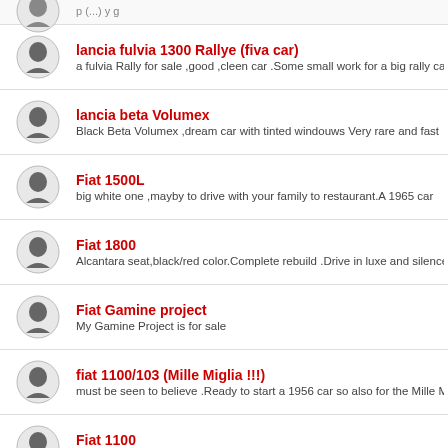lancia fulvia 1300 Rallye (fiva car) — a fulvia Rally for sale ,good ,cleen car .Some small work for a big rally car
lancia beta Volumex — Black Beta Volumex ,dream car with tinted windouws Very rare and fast
Fiat 1500L — big white one ,mayby to drive with your family to restaurant.A 1965 car
Fiat 1800 — Alcantara seat,black/red color.Complete rebuild .Drive in luxe and silence
Fiat Gamine project — My Gamine Project is for sale
fiat 1100/103 (Mille Miglia !!!) — must be seen to believe .Ready to start a 1956 car so also for the Mille M
Fiat 1100 — this time a starter from 1967.Sit in and drive away to start your collection
Alfa Romeo 1900 M AR51 Matta Mille Miglia